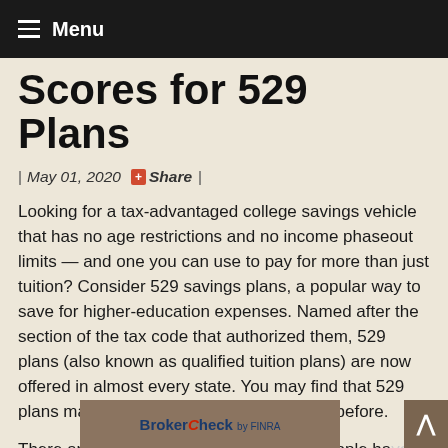Menu
Scores for 529 Plans
| May 01, 2020  + Share |
Looking for a tax-advantaged college savings vehicle that has no age restrictions and no income phaseout limits — and one you can use to pay for more than just tuition? Consider 529 savings plans, a popular way to save for higher-education expenses. Named after the section of the tax code that authorized them, 529 plans (also known as qualified tuition plans) are now offered in almost every state. You may find that 529 plans make saving for college easier than before.
There are two types of 529 plans. Most people have heard about the original fo m of 529s: th state-operated prepaid